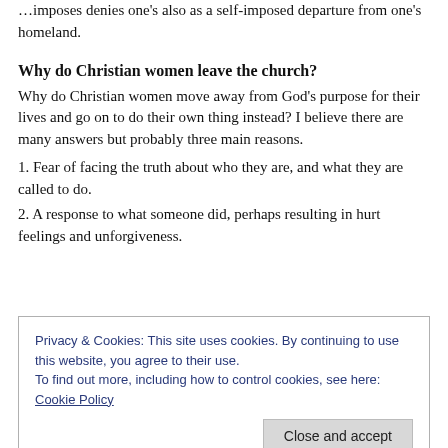…imposes denies one's also as a self-imposed departure from one's homeland.
Why do Christian women leave the church?
Why do Christian women move away from God's purpose for their lives and go on to do their own thing instead? I believe there are many answers but probably three main reasons.
1. Fear of facing the truth about who they are, and what they are called to do.
2. A response to what someone did, perhaps resulting in hurt feelings and unforgiveness.
Privacy & Cookies: This site uses cookies. By continuing to use this website, you agree to their use. To find out more, including how to control cookies, see here: Cookie Policy
there is a call on your life or something particularly special